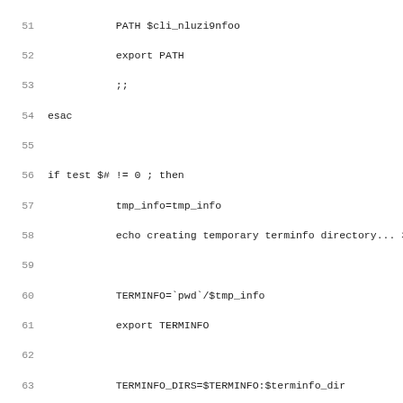Code listing lines 52-83, shell script with terminfo setup and cat heredoc
[Figure (screenshot): Shell script source code listing with line numbers 52-83 showing PATH export, esac, if/else/fi blocks, TERMINFO variable setup, tic_path invocation, cat <<EOF heredoc with C comment and #include directives]